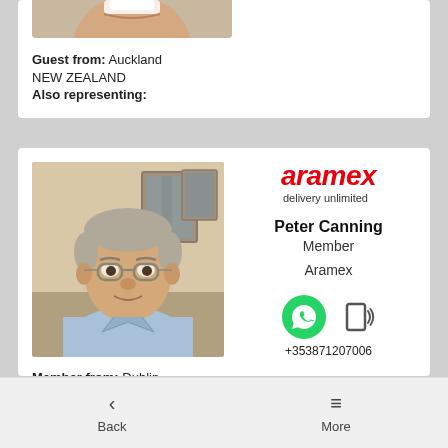[Figure (photo): Partial photo of a person (cropped at top), shown at top of first card]
Guest from: Auckland
NEW ZEALAND
Also representing:
[Figure (photo): Photo of Peter Canning, an older man with glasses wearing a light blue shirt]
[Figure (logo): Aramex logo in red italic text with tagline 'delivery unlimited']
Peter Canning
Member
Aramex
[Figure (infographic): WhatsApp icon (green speech bubble with phone) and phone icon with sound waves]
+353871207006
Member from: Dublin
IRELAND
Also representing:
Website:
https://www.aramex.com/
Back   More